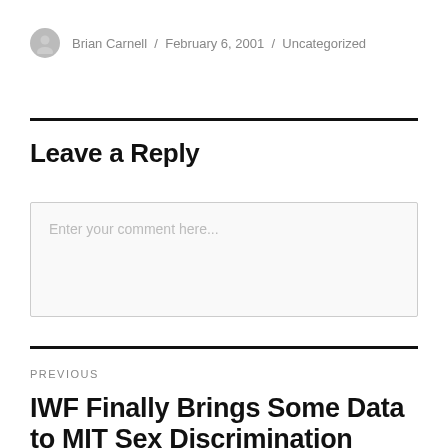Brian Carnell / February 6, 2001 / Uncategorized
Leave a Reply
Enter your comment here...
PREVIOUS
IWF Finally Brings Some Data to MIT Sex Discrimination